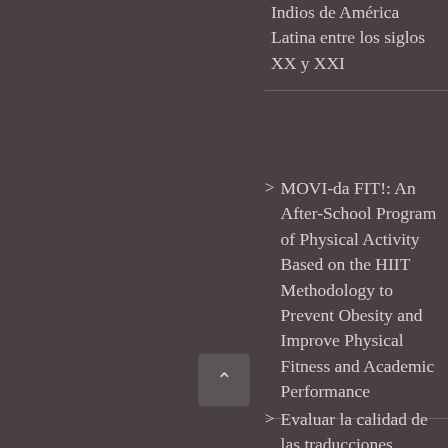Indios de América Latina entre los siglos XX y XXI
MOVI-da FIT!: An After-School Program of Physical Activity Based on the HIIT Methodology to Prevent Obesity and Improve Physical Fitness and Academic Performance
Evaluar la calidad de las traducciones